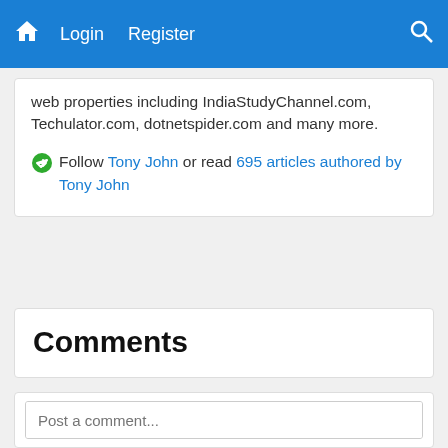Login  Register
web properties including IndiaStudyChannel.com, Techulator.com, dotnetspider.com and many more.
Follow Tony John or read 695 articles authored by Tony John
Comments
Post a comment...